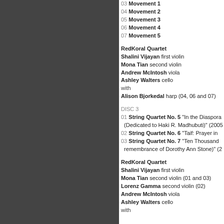03 Movement 1
04 Movement 2
05 Movement 3
06 Movement 4
07 Movement 5
RedKoral Quartet
Shalini Vijayan first violin
Mona Tian second violin
Andrew McIntosh viola
Ashley Walters cello
with
Alison Bjorkedal harp (04, 06 and 07)
DISC 3
01 String Quartet No. 5 "In the Diaspora... (Dedicated to Haki R. Madhubuti)" (2005)
02 String Quartet No. 6 "Taif: Prayer in...
03 String Quartet No. 7 "Ten Thousand... remembrance of Dorothy Ann Stone)" (2...
RedKoral Quartet
Shalini Vijayan first violin
Mona Tian second violin (01 and 03)
Lorenz Gamma second violin (02)
Andrew McIntosh viola
Ashley Walters cello
with